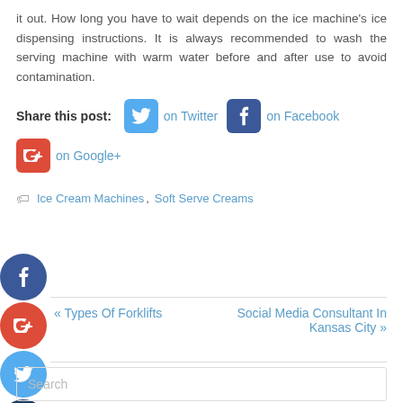it out. How long you have to wait depends on the ice machine's ice dispensing instructions. It is always recommended to wash the serving machine with warm water before and after use to avoid contamination.
Share this post: on Twitter on Facebook on Google+
Ice Cream Machines, Soft Serve Creams
« Types Of Forklifts
Social Media Consultant In Kansas City »
Search